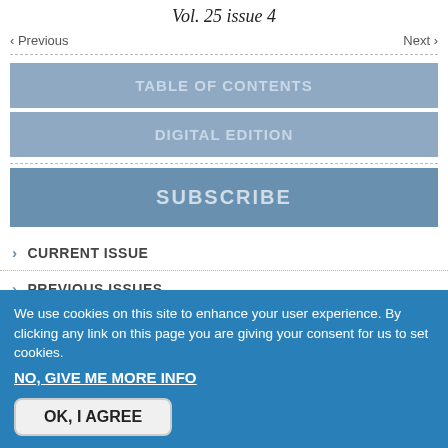Vol. 25 issue 4
‹ Previous    Next ›
TABLE OF CONTENTS
DIGITAL EDITION
SUBSCRIBE
› CURRENT ISSUE
› PREVIOUS ISSUES
› SIGN UP FOR E-ALERT
We use cookies on this site to enhance your user experience. By clicking any link on this page you are giving your consent for us to set cookies.
NO, GIVE ME MORE INFO
OK, I AGREE